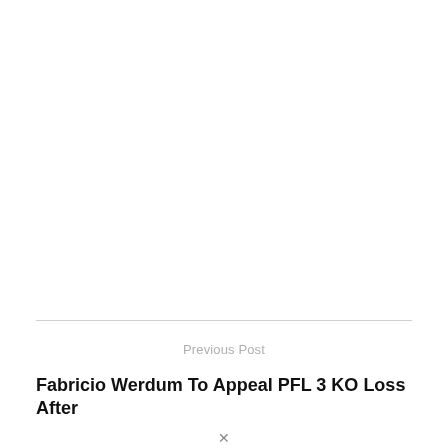Previous Post
Fabricio Werdum To Appeal PFL 3 KO Loss After